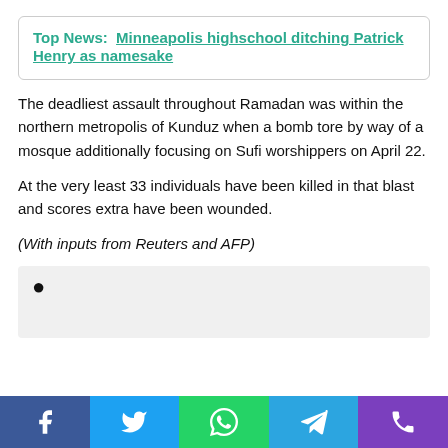Top News:  Minneapolis highschool ditching Patrick Henry as namesake
The deadliest assault throughout Ramadan was within the northern metropolis of Kunduz when a bomb tore by way of a mosque additionally focusing on Sufi worshippers on April 22.
At the very least 33 individuals have been killed in that blast and scores extra have been wounded.
(With inputs from Reuters and AFP)
•